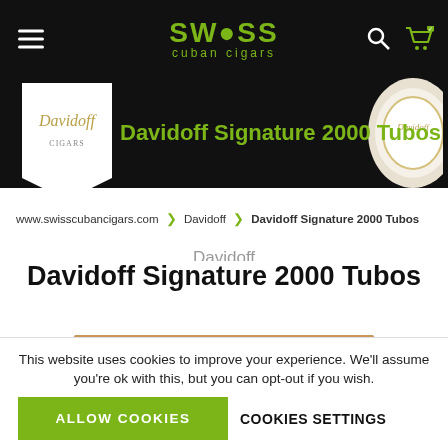[Figure (screenshot): Swiss Cuban Cigars website navigation bar with hamburger menu, green Swiss Cuban Cigars logo, search icon, and shopping cart icon on black background]
[Figure (screenshot): Banner with Davidoff logo on white card, title 'Davidoff Signature 2000 Tubos' in green text on black background, Davidoff product image on right]
www.swisscubancigars.com > Davidoff > Davidoff Signature 2000 Tubos
Davidoff
Davidoff Signature 2000 Tubos
[Figure (photo): Partial view of Davidoff wooden cigar box]
This website uses cookies to improve your experience. We'll assume you're ok with this, but you can opt-out if you wish.
ALLOW COOKIES
COOKIES SETTINGS